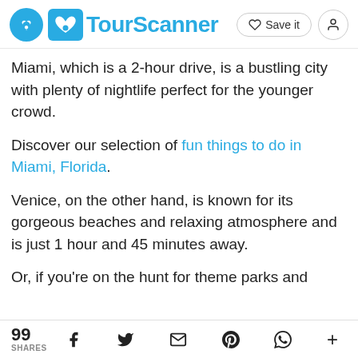TourScanner | Save it
Miami, which is a 2-hour drive, is a bustling city with plenty of nightlife perfect for the younger crowd.
Discover our selection of fun things to do in Miami, Florida.
Venice, on the other hand, is known for its gorgeous beaches and relaxing atmosphere and is just 1 hour and 45 minutes away.
Or, if you're on the hunt for theme parks and
99 SHARES | Facebook | Twitter | Email | Pinterest | WhatsApp | More